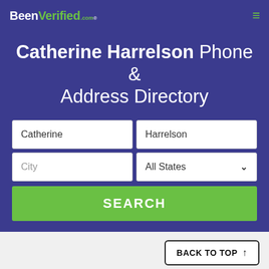BeenVerified.com
Catherine Harrelson Phone & Address Directory
[Figure (screenshot): Search form with two input rows: first row has 'Catherine' and 'Harrelson' fields, second row has 'City' and 'All States' dropdown fields, followed by a green SEARCH button]
BACK TO TOP ↑